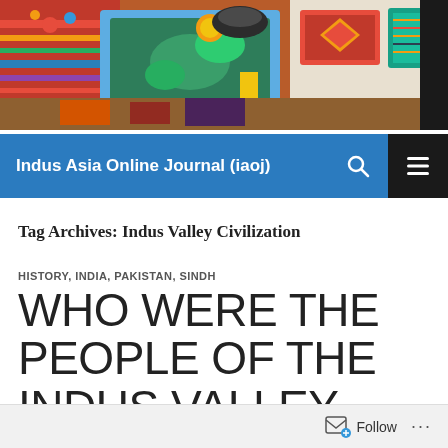[Figure (photo): Colorful traditional handicrafts and textiles — embroidered cushions, patterned fabrics, decorative items on display, vibrant reds, oranges, greens and yellows]
Indus Asia Online Journal (iaoj)
Tag Archives: Indus Valley Civilization
HISTORY, INDIA, PAKISTAN, SINDH
WHO WERE THE PEOPLE OF THE INDUS VALLEY CIVILISATION? THE